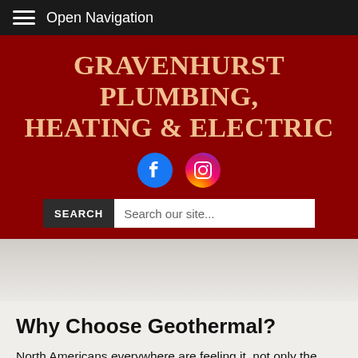Open Navigation
GRAVENHURST PLUMBING, HEATING & ELECTRIC
[Figure (logo): Facebook and Instagram social media icons]
[Figure (photo): Faded background hero image of a landscape or building, light grey tones]
Why Choose Geothermal?
North Americans everywhere are feeling it, not only the pinch at the pump, but also the strain of monthly utility bills. That's a big reason why more and more